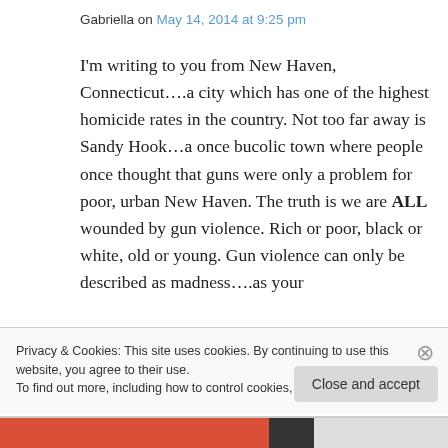Gabriella on May 14, 2014 at 9:25 pm
I'm writing to you from New Haven, Connecticut….a city which has one of the highest homicide rates in the country. Not too far away is Sandy Hook…a once bucolic town where people once thought that guns were only a problem for poor, urban New Haven. The truth is we are ALL wounded by gun violence. Rich or poor, black or white, old or young. Gun violence can only be described as madness….as your
Privacy & Cookies: This site uses cookies. By continuing to use this website, you agree to their use.
To find out more, including how to control cookies, see here: Cookie Policy